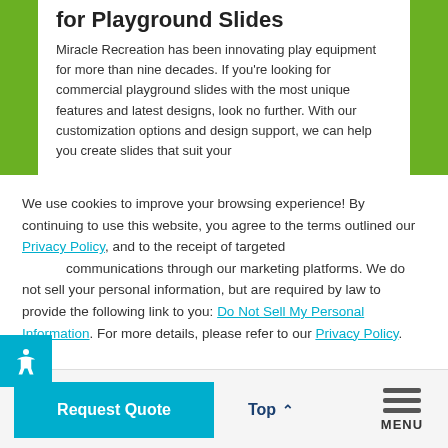for Playground Slides
Miracle Recreation has been innovating play equipment for more than nine decades. If you're looking for commercial playground slides with the most unique features and latest designs, look no further. With our customization options and design support, we can help you create slides that suit your
We use cookies to improve your browsing experience! By continuing to use this website, you agree to the terms outlined our Privacy Policy, and to the receipt of targeted communications through our marketing platforms. We do not sell your personal information, but are required by law to provide the following link to you: Do Not Sell My Personal Information. For more details, please refer to our Privacy Policy.
Ok
Request Quote
Top
MENU